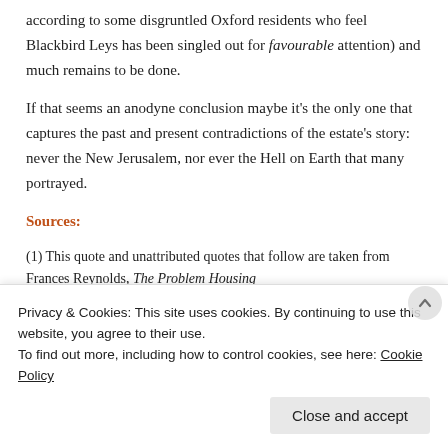according to some disgruntled Oxford residents who feel Blackbird Leys has been singled out for favourable attention) and much remains to be done.
If that seems an anodyne conclusion maybe it's the only one that captures the past and present contradictions of the estate's story: never the New Jerusalem, nor ever the Hell on Earth that many portrayed.
Sources:
(1) This quote and unattributed quotes that follow are taken from Frances Reynolds, The Problem Housing
Privacy & Cookies: This site uses cookies. By continuing to use this website, you agree to their use.
To find out more, including how to control cookies, see here: Cookie Policy